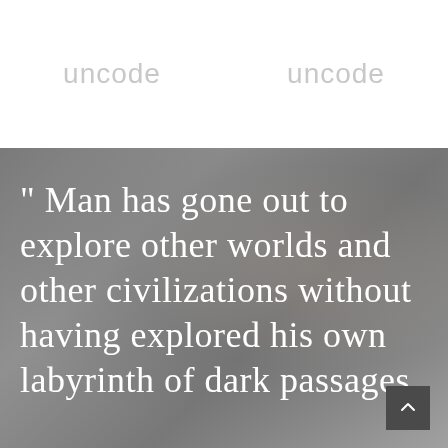uncode   uncode
" Man has gone out to explore other worlds and other civilizations without having explored his own labyrinth of dark passages